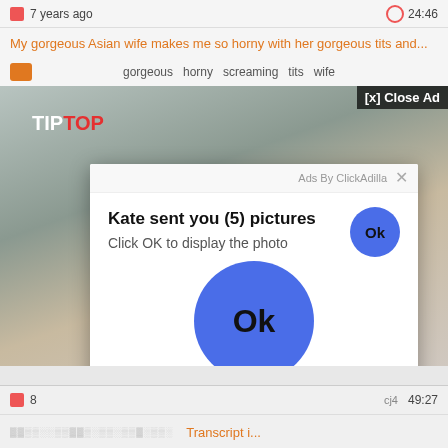7 years ago  24:46
My gorgeous Asian wife makes me so horny with her gorgeous tits and...
gorgeous  horny  screaming  tits  wife
[Figure (screenshot): Video thumbnail showing a bathroom scene with TIPTOP logo visible. An advertisement modal overlay is displayed on top with text 'Kate sent you (5) pictures' and 'Click OK to display the photo' with Ok buttons.]
8  cj4  49:27
Transcript...